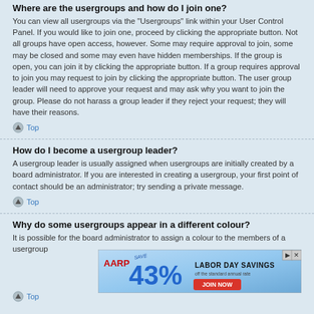Where are the usergroups and how do I join one?
You can view all usergroups via the “Usergroups” link within your User Control Panel. If you would like to join one, proceed by clicking the appropriate button. Not all groups have open access, however. Some may require approval to join, some may be closed and some may even have hidden memberships. If the group is open, you can join it by clicking the appropriate button. If a group requires approval to join you may request to join by clicking the appropriate button. The user group leader will need to approve your request and may ask why you want to join the group. Please do not harass a group leader if they reject your request; they will have their reasons.
Top
How do I become a usergroup leader?
A usergroup leader is usually assigned when usergroups are initially created by a board administrator. If you are interested in creating a usergroup, your first point of contact should be an administrator; try sending a private message.
Top
Why do some usergroups appear in a different colour?
It is possible for the board administrator to assign a colour to the members of a usergroup
Top
[Figure (infographic): AARP advertisement banner: Save 43% Labor Day Savings off the standard annual rate. Join Now button. Close and play buttons.]